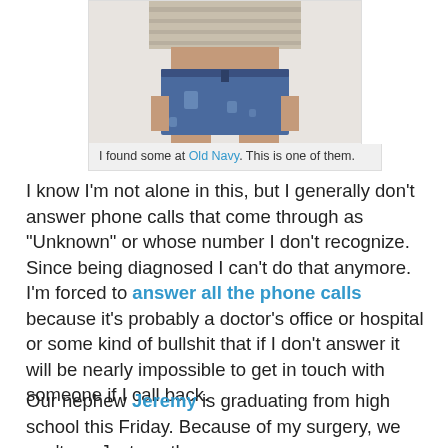[Figure (photo): A person wearing a distressed denim mini skirt and a striped top, cropped to show torso and legs]
I found some at Old Navy. This is one of them.
I know I'm not alone in this, but I generally don't answer phone calls that come through as "Unknown" or whose number I don't recognize. Since being diagnosed I can't do that anymore. I'm forced to answer all the phone calls because it's probably a doctor's office or hospital or some kind of bullshit that if I don't answer it will be nearly impossible to get in touch with someone if I call back.
Our nephew Jeremy is graduating from high school this Friday. Because of my surgery, we can't go. Just another